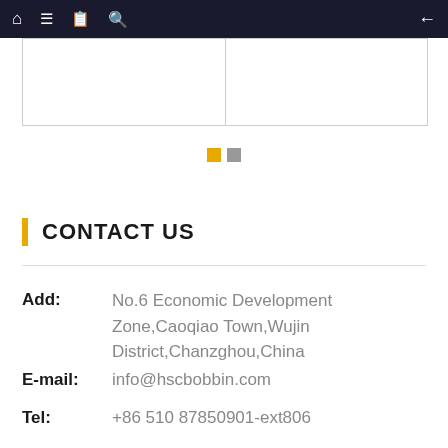Navigation bar with home, menu, notebook, search icons and back arrow
[Figure (other): Two-column table/image placeholder at the top of the page]
[Figure (other): Carousel pagination dots: one yellow active dot and one grey inactive dot]
CONTACT US
Add: No.6 Economic Development Zone,Caoqiao Town,Wujin District,Chanzghou,China
E-mail: info@hscbobbin.com
Tel: +86 510 87850901-ext806